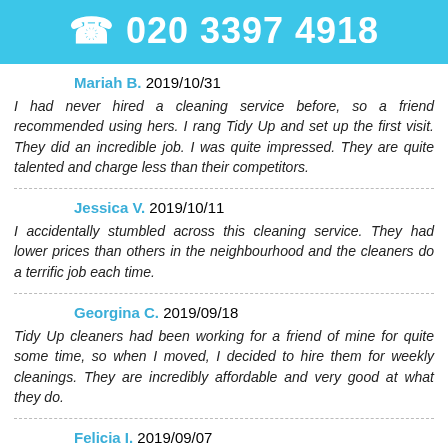☎ 020 3397 4918
Mariah B. 2019/10/31
I had never hired a cleaning service before, so a friend recommended using hers. I rang Tidy Up and set up the first visit. They did an incredible job. I was quite impressed. They are quite talented and charge less than their competitors.
Jessica V. 2019/10/11
I accidentally stumbled across this cleaning service. They had lower prices than others in the neighbourhood and the cleaners do a terrific job each time.
Georgina C. 2019/09/18
Tidy Up cleaners had been working for a friend of mine for quite some time, so when I moved, I decided to hire them for weekly cleanings. They are incredibly affordable and very good at what they do.
Felicia I. 2019/09/07